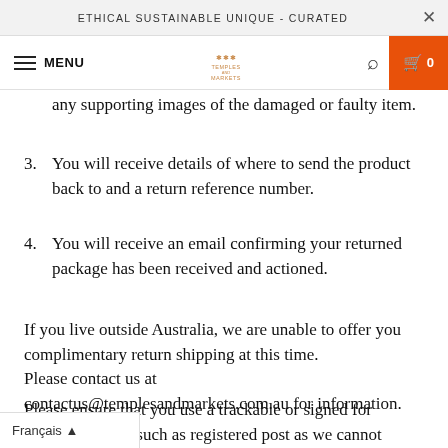ETHICAL SUSTAINABLE UNIQUE - CURATED
any supporting images of the damaged or faulty item.
3. You will receive details of where to send the product back to and a return reference number.
4. You will receive an email confirming your returned package has been received and actioned.
If you live outside Australia, we are unable to offer you complimentary return shipping at this time. Please contact us at contactus@templesandmarkets.com.au for information.
Please ensure that you use a trackable or signed for delivery service such as registered post as we cannot credit your account until the item has been received and
Français ▲